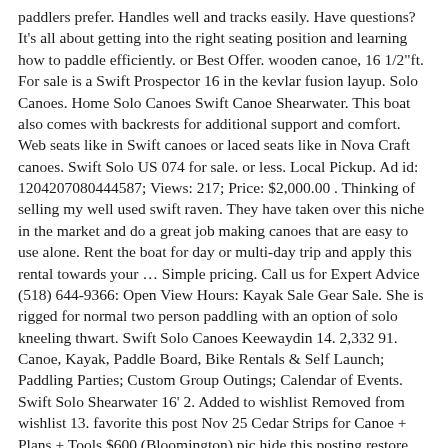paddlers prefer. Handles well and tracks easily. Have questions? It's all about getting into the right seating position and learning how to paddle efficiently. or Best Offer. wooden canoe, 16 1/2"ft. For sale is a Swift Prospector 16 in the kevlar fusion layup. Solo Canoes. Home Solo Canoes Swift Canoe Shearwater. This boat also comes with backrests for additional support and comfort. Web seats like in Swift canoes or laced seats like in Nova Craft canoes. Swift Solo US 074 for sale. or less. Local Pickup. Ad id: 1204207080444587; Views: 217; Price: $2,000.00 . Thinking of selling my well used swift raven. They have taken over this niche in the market and do a great job making canoes that are easy to use alone. Rent the boat for day or multi-day trip and apply this rental towards your … Simple pricing. Call us for Expert Advice (518) 644-9366: Open View Hours: Kayak Sale Gear Sale. She is rigged for normal two person paddling with an option of solo kneeling thwart. Swift Solo Canoes Keewaydin 14. 2,332 91. Canoe, Kayak, Paddle Board, Bike Rentals & Self Launch; Paddling Parties; Custom Group Outings; Calendar of Events. Swift Solo Shearwater 16' 2. Added to wishlist Removed from wishlist 13. favorite this post Nov 25 Cedar Strips for Canoe + Plans + Tools $600 (Bloomington) pic hide this posting restore restore this posting. w/Carbon Kevlar Trim *Please give us a call to discuss option and for pricing, 1-800-491-0414. Our Kevlar and Kevlar Fusion boats are made in Gravenhurst, Ontario by Swift Canoe & Kayak. Swift currently markets two solo canoes - the Osprey and